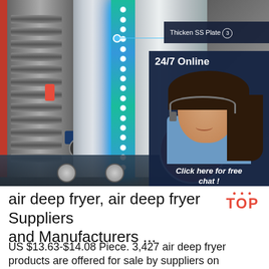[Figure (photo): Commercial air deep fryer / food dehydrator machine with stainless steel body, blue LED strip lighting, shelving trays visible, with overlaid callout label 'Thicken SS Plate ③', a circular inset image showing a heating element, a '24/7 Online' customer service panel with a female agent wearing a headset, '8 Hours' text, 'Click here for free chat!' text, and an orange 'QUOTATION' button]
air deep fryer, air deep fryer Suppliers and Manufacturers ...
US $13.63-$14.08 Piece. 3,427 air deep fryer products are offered for sale by suppliers on